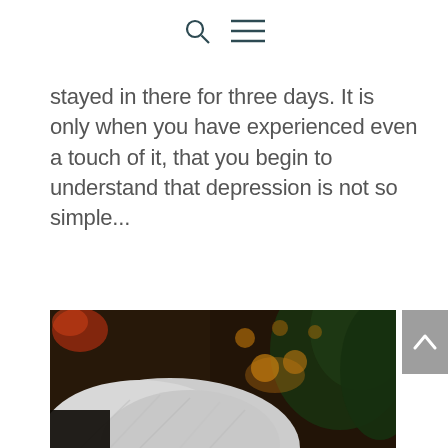[search icon] [menu icon]
stayed in there for three days. It is only when you have experienced even a touch of it, that you begin to understand that depression is not so simple...
[Figure (photo): Close-up photograph of the back of a person's head with white/grey hair, taken in a dimly lit restaurant or bar setting with warm bokeh lights and green foliage visible in the background.]